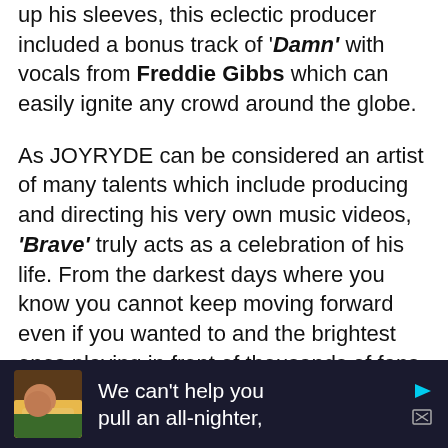up his sleeves, this eclectic producer included a bonus track of 'Damn' with vocals from Freddie Gibbs which can easily ignite any crowd around the globe.

As JOYRYDE can be considered an artist of many talents which include producing and directing his very own music videos, 'Brave' truly acts as a celebration of his life. From the darkest days where you know you cannot keep moving forward even if you wanted to and the brightest ones playing in front of thousands of fans, JOYRYDE has enabled his audience to capture the essence of his story both
[Figure (other): Advertisement banner: dark navy background with a small image of a person sleeping, text reads 'We can't help you pull an all-nighter,' with skip/close icons]